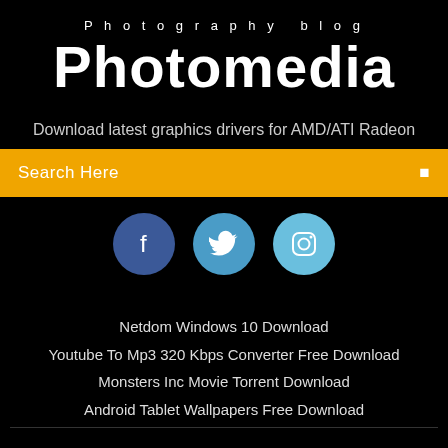Photography blog
Photomedia
Download latest graphics drivers for AMD/ATI Radeon
Search Here
[Figure (illustration): Three social media icons in circles: Facebook (dark blue), Twitter (medium blue), Instagram (light blue)]
Netdom Windows 10 Download
Youtube To Mp3 320 Kbps Converter Free Download
Monsters Inc Movie Torrent Download
Android Tablet Wallpapers Free Download